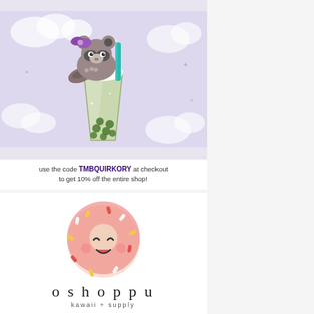[Figure (illustration): Kawaii illustration of a raccoon with purple bow sitting on top of a green matcha boba tea drink with whipped cream and a teal straw, on a purple cloud background]
use the code TMBQUIRKORY at checkout to get 10% off the entire shop!
[Figure (logo): Oshoppu kawaii + supply logo featuring a pink frosted donut with a cute kawaii face (happy eyes and open smile), with colorful sprinkles, above the text 'oshoppu' and 'kawaii + supply']